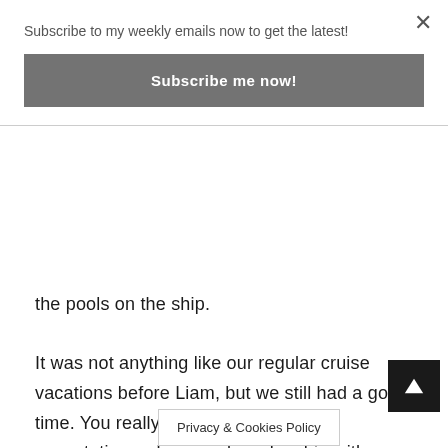Subscribe to my weekly emails now to get the latest!
Subscribe me now!
the pools on the ship.
It was not anything like our regular cruise vacations before Liam, but we still had a good time. You really can not have any expectations when you board a ship with a toddler with hundreds of other people. We just tried to keep him entertained and happy and tried to make the most of our time onboard
Privacy & Cookies Policy